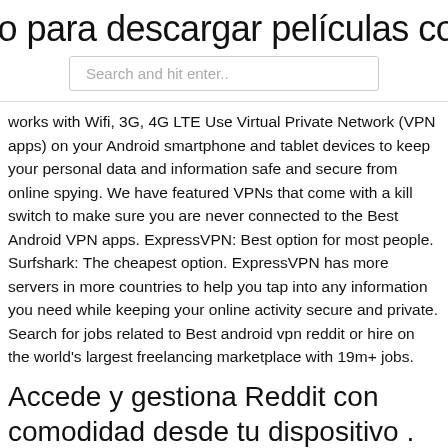io para descargar películas con utorr
Search and hit enter..
works with Wifi, 3G, 4G LTE Use Virtual Private Network (VPN apps) on your Android smartphone and tablet devices to keep your personal data and information safe and secure from online spying. We have featured VPNs that come with a kill switch to make sure you are never connected to the Best Android VPN apps. ExpressVPN: Best option for most people. Surfshark: The cheapest option. ExpressVPN has more servers in more countries to help you tap into any information you need while keeping your online activity secure and private. Search for jobs related to Best android vpn reddit or hire on the world's largest freelancing marketplace with 19m+ jobs.
Accede y gestiona Reddit con comodidad desde tu dispositivo .
If your reason for having a VPN is just about having a bit more security on your Looking for VPN Android Reddit Free? Check